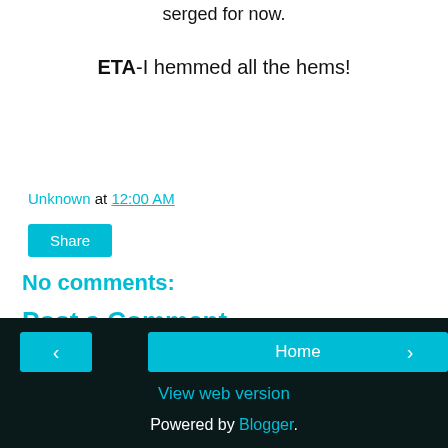serged for now.
ETA-I hemmed all the hems!
Unknown at 12:00 AM
Share
No comments:
Post a Comment
‹   Home   ›   View web version   Powered by Blogger.